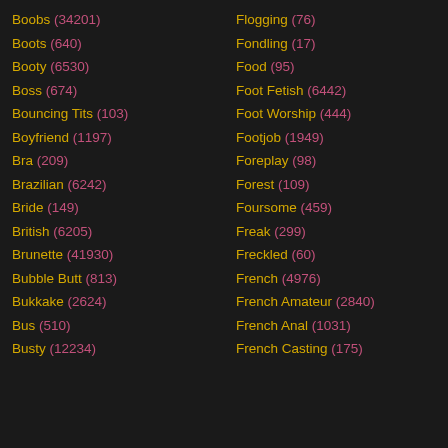Boobs (34201)
Boots (640)
Booty (6530)
Boss (674)
Bouncing Tits (103)
Boyfriend (1197)
Bra (209)
Brazilian (6242)
Bride (149)
British (6205)
Brunette (41930)
Bubble Butt (813)
Bukkake (2624)
Bus (510)
Busty (12234)
Flogging (76)
Fondling (17)
Food (95)
Foot Fetish (6442)
Foot Worship (444)
Footjob (1949)
Foreplay (98)
Forest (109)
Foursome (459)
Freak (299)
Freckled (60)
French (4976)
French Amateur (2840)
French Anal (1031)
French Casting (175)